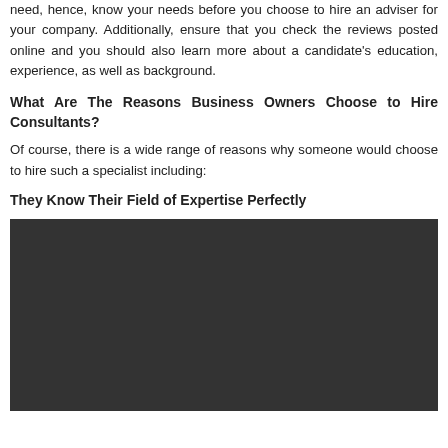need, hence, know your needs before you choose to hire an adviser for your company. Additionally, ensure that you check the reviews posted online and you should also learn more about a candidate's education, experience, as well as background.
What Are The Reasons Business Owners Choose to Hire Consultants?
Of course, there is a wide range of reasons why someone would choose to hire such a specialist including:
They Know Their Field of Expertise Perfectly
[Figure (photo): Dark/black image placeholder representing a photo related to business consultants]